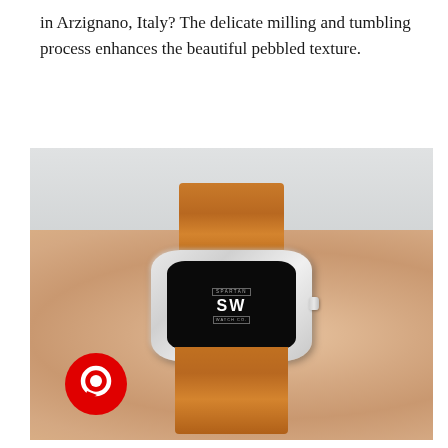in Arzignano, Italy? The delicate milling and tumbling process enhances the beautiful pebbled texture.
[Figure (photo): A person's wrist wearing an Apple Watch with a tan/brown pebbled leather band. The watch face displays the Spartan Watch Co. logo with 'SW' prominently shown. A red chat/message icon is visible in the bottom left corner of the image.]